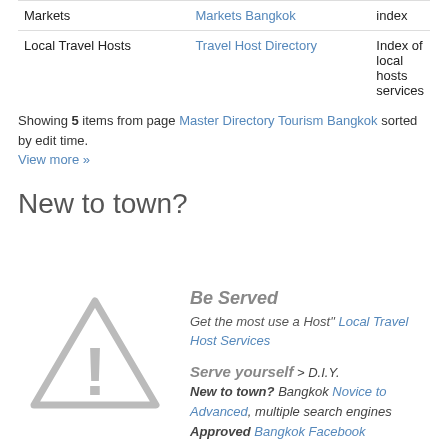|  |  |  |
| --- | --- | --- |
| Markets | Markets Bangkok | index |
| Local Travel Hosts | Travel Host Directory | Index of local hosts services |
Showing 5 items from page Master Directory Tourism Bangkok sorted by edit time. View more »
New to town?
[Figure (illustration): Gray warning/alert triangle icon with exclamation mark]
Be Served
Get the most use a Host" Local Travel Host Services
Serve yourself > D.I.Y.
New to town? Bangkok Novice to Advanced, multiple search engines
Approved Bangkok Facebook